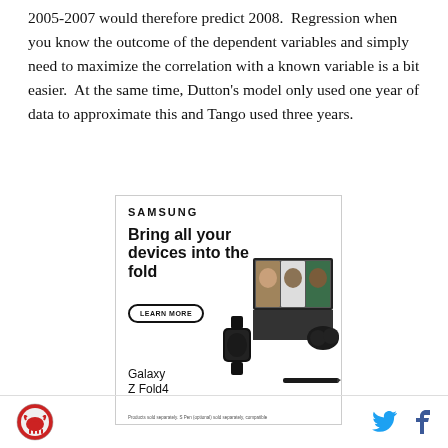2005-2007 would therefore predict 2008.  Regression when you know the outcome of the dependent variables and simply need to maximize the correlation with a known variable is a bit easier.  At the same time, Dutton's model only used one year of data to approximate this and Tango used three years.
[Figure (other): Samsung advertisement for Galaxy Z Fold4. Shows 'SAMSUNG' logo, headline 'Bring all your devices into the fold', a 'LEARN MORE' button, Galaxy Z Fold4 product name, product images of a foldable phone, smartwatch, earbuds and stylus, and disclaimer text 'Products sold separately. S Pen (optional) sold separately, compatible'.]
Site logo (circular red/white illustration), Twitter bird icon, Facebook f icon